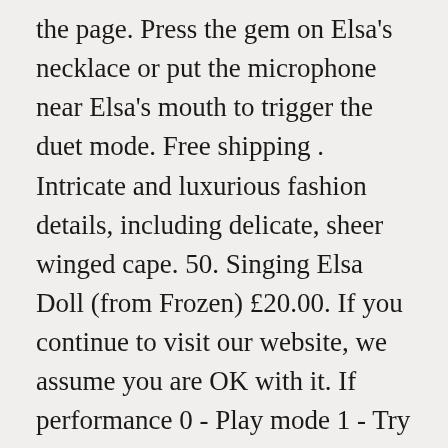the page. Press the gem on Elsa's necklace or put the microphone near Elsa's mouth to trigger the duet mode. Free shipping . Intricate and luxurious fashion details, including delicate, sheer winged cape. 50. Singing Elsa Doll (from Frozen) £20.00. If you continue to visit our website, we assume you are OK with it. If performance 0 - Play mode 1 - Try me mode diminishes after purchase, replace 2 - … 2. Your email address will never be sold or distributed to a third party for any reason. The Toy Insider also accepts consideration from manufacturers, which is clearly marked as sponsored content. This was absolutely worth the money! Frozen Inflatable Glitter Chill Chair Free delivery. The only problem that I have